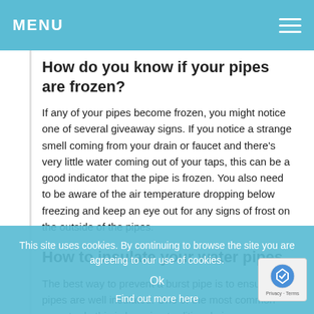MENU
How do you know if your pipes are frozen?
If any of your pipes become frozen, you might notice one of several giveaway signs. If you notice a strange smell coming from your drain or faucet and there's very little water coming out of your taps, this can be a good indicator that the pipe is frozen. You also need to be aware of the air temperature dropping below freezing and keep an eye out for any signs of frost on the outside of the pipes.
How to insulate your water pipes
The best way to prevent a burst pipe is to ensure your pipes are well insulated. One of the most common ways to do this is by using traditional pipe wrap insulation. Pipe wrap insulation comes in a number of different materials, including foam and foil, bubble wrap and flexible foam with rubber backing. Resistance to air flow is measured by the insulation a...
This site uses cookies. By continuing to browse the site you are agreeing to our use of cookies.
Ok
Find out more here